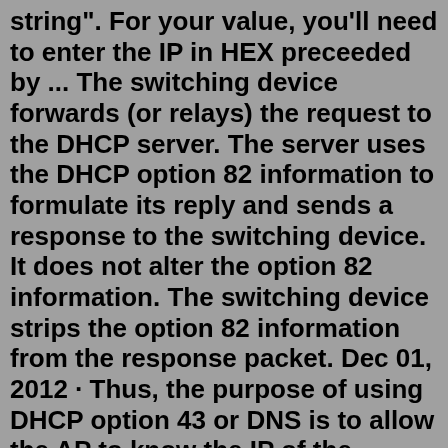string". For your value, you'll need to enter the IP in HEX preceeded by ... The switching device forwards (or relays) the request to the DHCP server. The server uses the DHCP option 82 information to formulate its reply and sends a response to the switching device. It does not alter the option 82 information. The switching device strips the option 82 information from the response packet. Dec 01, 2012 · Thus, the purpose of using DHCP option 43 or DNS is to allow the AP to know the IP of the controller. To use DHCP Option 43. To use DHCP Option 43 You'll need to configure your DHCP Server. For example: Linux's ISC DHCP server: dhcpd.conf. # ... option space ubnt; option ubnt.unifi-address code 1 = ip-address; class "ubnt" {. Aug 10, 2011 · The only difference between option 43 and 125 is that option 43 does not need a "vendor id" which some DHCP servers (like microsoft one!) does not support natively. In your case, maybe the phones didn't use your option 125 because the vendor id (=1027) was missing. You have 3 choices : - Use option 43. florian@devil:~$ dhcpd -